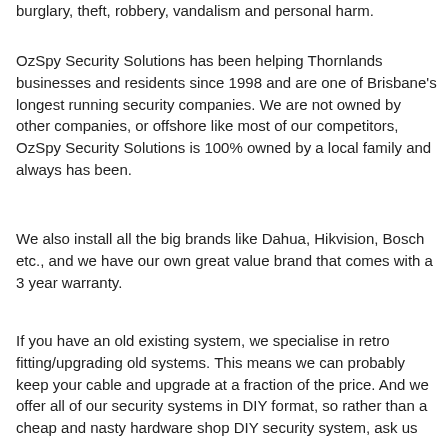burglary, theft, robbery, vandalism and personal harm.
OzSpy Security Solutions has been helping Thornlands businesses and residents since 1998 and are one of Brisbane's longest running security companies. We are not owned by other companies, or offshore like most of our competitors, OzSpy Security Solutions is 100% owned by a local family and always has been.
We also install all the big brands like Dahua, Hikvision, Bosch etc., and we have our own great value brand that comes with a 3 year warranty.
If you have an old existing system, we specialise in retro fitting/upgrading old systems. This means we can probably keep your cable and upgrade at a fraction of the price. And we offer all of our security systems in DIY format, so rather than a cheap and nasty hardware shop DIY security system, ask us about our premium brand systems.